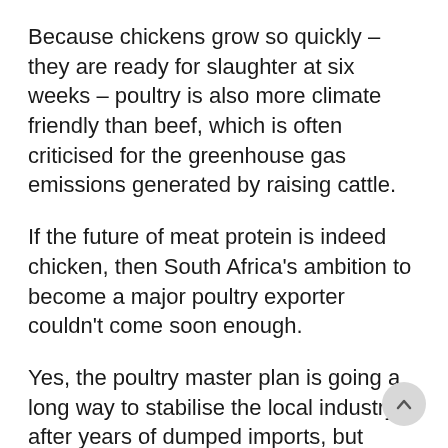Because chickens grow so quickly – they are ready for slaughter at six weeks – poultry is also more climate friendly than beef, which is often criticised for the greenhouse gas emissions generated by raising cattle.
If the future of meat protein is indeed chicken, then South Africa's ambition to become a major poultry exporter couldn't come soon enough.
Yes, the poultry master plan is going a long way to stabilise the local industry after years of dumped imports, but turning South Africa into a global poultry exporter will require bold action.
It would be prudent for government to remember that serious agricultural subsidies and for enriching nations, but to protect it